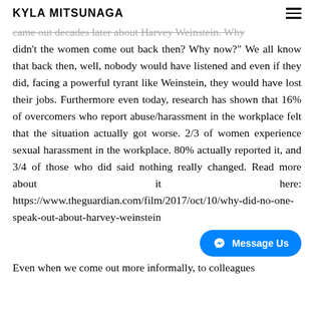KYLA MITSUNAGA
came out decades later about Harvey Weinstein. "Why didn't the women come out back then? Why now?" We all know that back then, well, nobody would have listened and even if they did, facing a powerful tyrant like Weinstein, they would have lost their jobs. Furthermore even today, research has shown that 16% of overcomers who report abuse/harassment in the workplace felt that the situation actually got worse. 2/3 of women experience sexual harassment in the workplace. 80% actually reported it, and 3/4 of those who did said nothing really changed. Read more about it here: https://www.theguardian.com/film/2017/oct/10/why-did-no-one-speak-out-about-harvey-weinstein
Even when we come out more informally, to colleagues